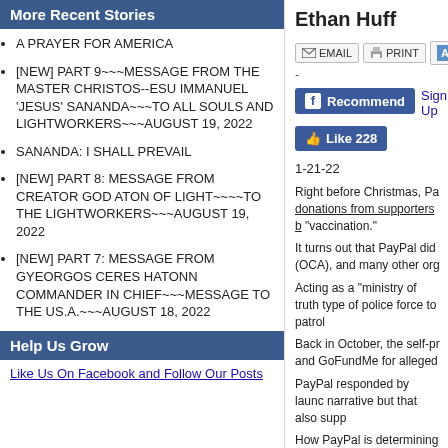More Recent Stories
A PRAYER FOR AMERICA
[NEW] PART 9~~~MESSAGE FROM THE MASTER CHRISTOS--ESU IMMANUEL 'JESUS' SANANDA~~~TO ALL SOULS AND LIGHTWORKERS~~~AUGUST 19, 2022
SANANDA: I SHALL PREVAIL
[NEW] PART 8: MESSAGE FROM CREATOR GOD ATON OF LIGHT~~~~TO THE LIGHTWORKERS~~~AUGUST 19, 2022
[NEW] PART 7: MESSAGE FROM GYEORGOS CERES HATONN COMMANDER IN CHIEF~~~MESSAGE TO THE US.A.~~~AUGUST 18, 2022
Help Us Grow
Like Us On Facebook and Follow Our Posts
Ethan Huff
EMAIL  PRINT  SMAL
-
Recommend  Sign Up
Like 228
1-21-22
Right before Christmas, Pa donations from supporters b "vaccination."
It turns out that PayPal did (OCA), and many other org
Acting as a "ministry of truth type of police force to patrol
Back in October, the self-pr and GoFundMe for alleged
PayPal responded by launc narrative but that also supp
How PayPal is determining aggressively censoring and Remember when PayPal h